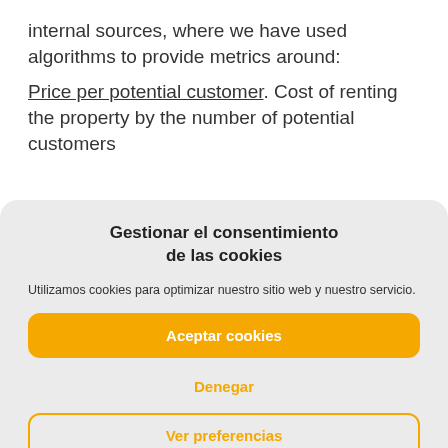internal sources, where we have used algorithms to provide metrics around:
Price per potential customer. Cost of renting the property by the number of potential customers [truncated]
Gestionar el consentimiento de las cookies
Utilizamos cookies para optimizar nuestro sitio web y nuestro servicio.
Aceptar cookies
Denegar
Ver preferencias
Política de cookies   Privacy Policy